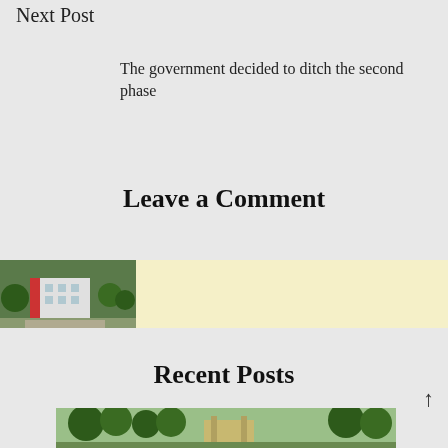Next Post
The government decided to ditch the second phase
Leave a Comment
[Figure (photo): Small thumbnail of a building with red and white facade surrounded by trees, next to a light yellow comment input area]
Recent Posts
[Figure (photo): Partial image of trees and a structure, shown at bottom of page as recent post thumbnail]